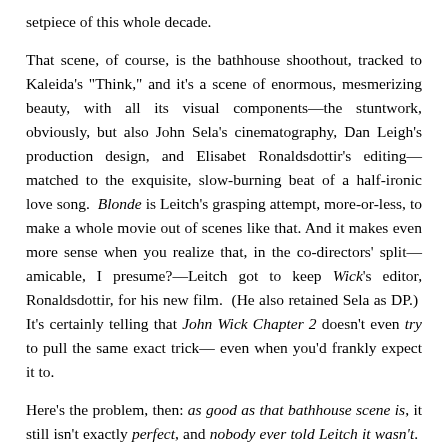setpiece of this whole decade.
That scene, of course, is the bathhouse shoothout, tracked to Kaleida's "Think," and it's a scene of enormous, mesmerizing beauty, with all its visual components—the stuntwork, obviously, but also John Sela's cinematography, Dan Leigh's production design, and Elisabet Ronaldsdottir's editing—matched to the exquisite, slow-burning beat of a half-ironic love song.  Blonde is Leitch's grasping attempt, more-or-less, to make a whole movie out of scenes like that.  And it makes even more sense when you realize that, in the co-directors' split—amicable, I presume?—Leitch got to keep Wick's editor, Ronaldsdottir, for his new film.  (He also retained Sela as DP.)  It's certainly telling that John Wick Chapter 2 doesn't even try to pull the same exact trick—even when you'd frankly expect it to.
Here's the problem, then: as good as that bathhouse scene is, it still isn't exactly perfect, and nobody ever told Leitch it wasn't.  It comes down to what I have to imagine is a baffling misapprehension on Leitch's part about the way movies basically work: apparently, he does not know that when you